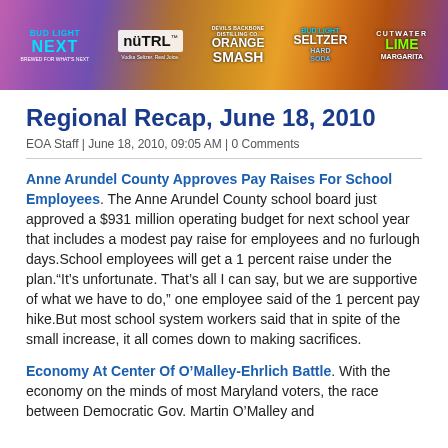[Figure (other): Banner advertisement showing multiple alcohol brand logos: Bud Light Next, NÜTRL Vodka Seltzer, Devils Backbone Orange Smash, Bud Light Hard Soda Seltzer, and Cutwater Lime Margarita against a colorful sunset background.]
Regional Recap, June 18, 2010
EOA Staff | June 18, 2010, 09:05 AM | 0 Comments
Anne Arundel County Approves Pay Raises For School Employees. The Anne Arundel County school board just approved a $931 million operating budget for next school year that includes a modest pay raise for employees and no furlough days.School employees will get a 1 percent raise under the plan."It's unfortunate. That's all I can say, but we are supportive of what we have to do," one employee said of the 1 percent pay hike.But most school system workers said that in spite of the small increase, it all comes down to making sacrifices.
Economy At Center Of O'Malley-Ehrlich Battle. With the economy on the minds of most Maryland voters, the race between Democratic Gov. Martin O'Malley and